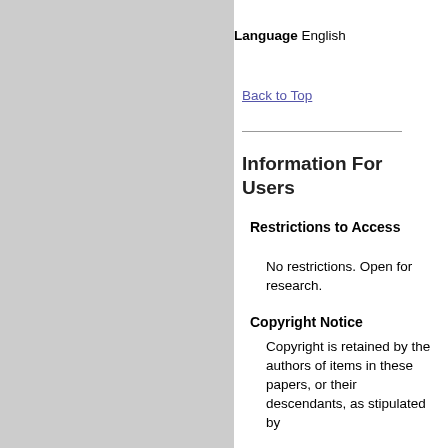Language English
Back to Top
Information For Users
Restrictions to Access
No restrictions. Open for research.
Copyright Notice
Copyright is retained by the authors of items in these papers, or their descendants, as stipulated by